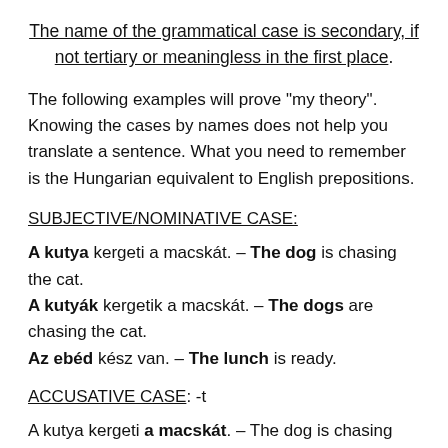The name of the grammatical case is secondary, if not tertiary or meaningless in the first place.
The following examples will prove "my theory". Knowing the cases by names does not help you translate a sentence. What you need to remember is the Hungarian equivalent to English prepositions.
SUBJECTIVE/NOMINATIVE CASE:
A kutya kergeti a macskát. – The dog is chasing the cat.
A kutyák kergetik a macskát. – The dogs are chasing the cat.
Az ebéd kész van. – The lunch is ready.
ACCUSATIVE CASE: -t
A kutya kergeti a macskát. – The dog is chasing the cat.
A kutya kergeti a macskákat. – The dog is chasing the